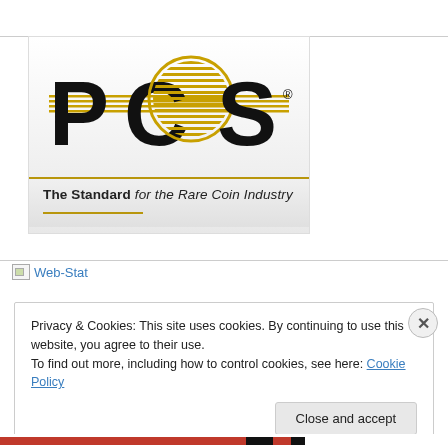[Figure (logo): PCGS logo with circular design in black and gold, with tagline 'The Standard for the Rare Coin Industry']
[Figure (other): Broken image icon placeholder for Web-Stat link]
Web-Stat
Privacy & Cookies: This site uses cookies. By continuing to use this website, you agree to their use.
To find out more, including how to control cookies, see here: Cookie Policy
Close and accept